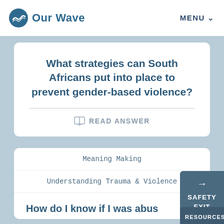Our Wave  MENU
What strategies can South Africans put into place to prevent gender-based violence?
READ ANSWER
Meaning Making
Understanding Trauma & Violence
How do I know if I was abus…
SAFETY EXIT
RESOURCES